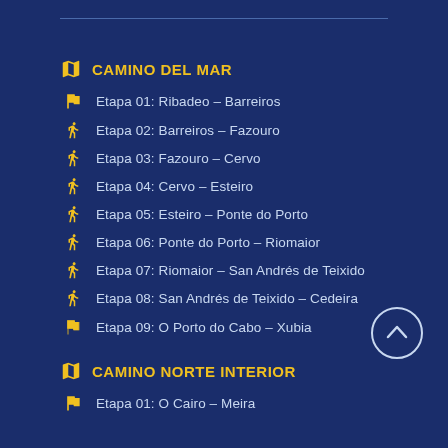CAMINO DEL MAR
Etapa 01: Ribadeo – Barreiros
Etapa 02: Barreiros – Fazouro
Etapa 03: Fazouro – Cervo
Etapa 04: Cervo – Esteiro
Etapa 05: Esteiro – Ponte do Porto
Etapa 06: Ponte do Porto – Riomaior
Etapa 07: Riomaior – San Andrés de Teixido
Etapa 08: San Andrés de Teixido – Cedeira
Etapa 09: O Porto do Cabo – Xubia
CAMINO NORTE INTERIOR
Etapa 01: O Cairo – Meira